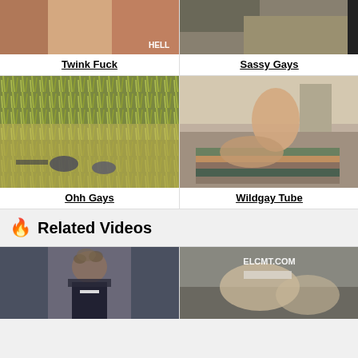[Figure (photo): Top-left thumbnail, cropped photo with tan/skin tones]
Twink Fuck
[Figure (photo): Top-right thumbnail, cropped photo with khaki/grey tones]
Sassy Gays
[Figure (photo): Middle-left thumbnail, outdoor field with tall grass, two people]
Ohh Gays
[Figure (photo): Middle-right thumbnail, indoor bedroom scene]
Wildgay Tube
🔥 Related Videos
[Figure (photo): Bottom-left thumbnail, person with curly hair in dark clothing]
[Figure (photo): Bottom-right thumbnail with ELCMT.COM watermark, indoor scene]